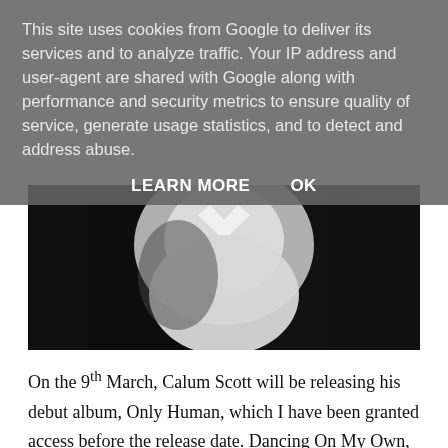This site uses cookies from Google to deliver its services and to analyze traffic. Your IP address and user-agent are shared with Google along with performance and security metrics to ensure quality of service, generate usage statistics, and to detect and address abuse.
LEARN MORE   OK
[Figure (photo): Black and white photograph of a person from the shoulders up wearing a white collared shirt, against a dark background]
On the 9th March, Calum Scott will be releasing his debut album, Only Human, which I have been granted access before the release date. Dancing On My Own, Rhythm Inside and You Are The Reason are the three singles that will be featured on the album and they have...